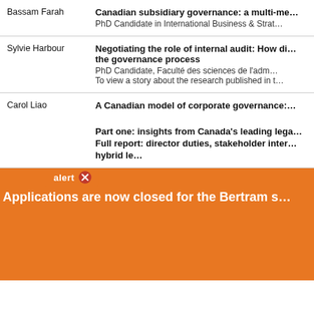| Author | Title / Details |
| --- | --- |
| Bassam Farah | Canadian subsidiary governance: a multi-me...
PhD Candidate in International Business & Strat... |
| Sylvie Harbour | Negotiating the role of internal audit: How di... the governance process
PhD Candidate, Faculté des sciences de l'adm...
To view a story about the research published in t... |
| Carol Liao | A Canadian model of corporate governance:...

Part one: insights from Canada's leading lega...
Full report: director duties, stakeholder inter...
hybrid le... |
[Figure (screenshot): Orange alert badge overlay with text 'alert' and close button (×)]
Applications are now closed for the Bertram s...